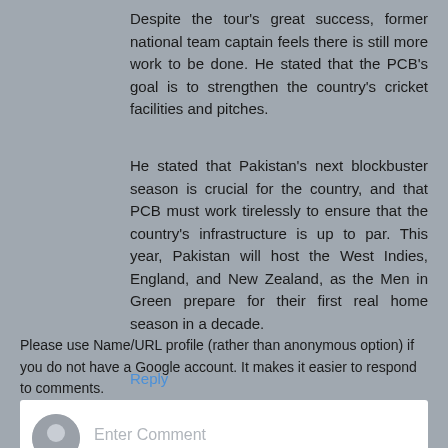Despite the tour's great success, former national team captain feels there is still more work to be done. He stated that the PCB's goal is to strengthen the country's cricket facilities and pitches.
He stated that Pakistan's next blockbuster season is crucial for the country, and that PCB must work tirelessly to ensure that the country's infrastructure is up to par. This year, Pakistan will host the West Indies, England, and New Zealand, as the Men in Green prepare for their first real home season in a decade.
Reply
[Figure (other): Comment input box with anonymous user avatar and 'Enter Comment' placeholder text]
Please use Name/URL profile (rather than anonymous option) if you do not have a Google account. It makes it easier to respond to comments.